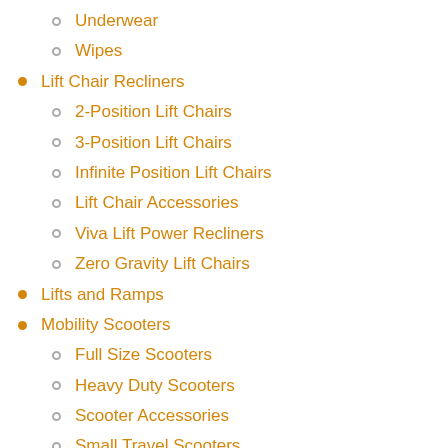Underwear
Wipes
Lift Chair Recliners
2-Position Lift Chairs
3-Position Lift Chairs
Infinite Position Lift Chairs
Lift Chair Accessories
Viva Lift Power Recliners
Zero Gravity Lift Chairs
Lifts and Ramps
Mobility Scooters
Full Size Scooters
Heavy Duty Scooters
Scooter Accessories
Small Travel Scooters
Orthopedic Support
Ostomy
Rentals
Skin Care